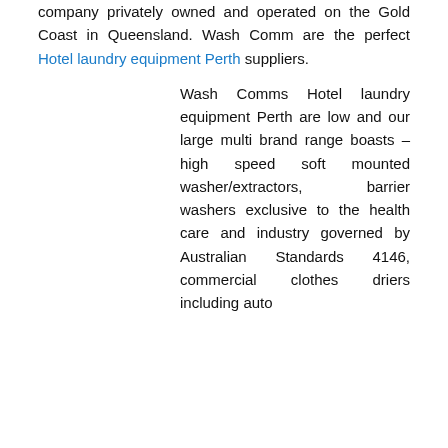company privately owned and operated on the Gold Coast in Queensland. Wash Comm are the perfect Hotel laundry equipment Perth suppliers.
Wash Comms Hotel laundry equipment Perth are low and our large multi brand range boasts – high speed soft mounted washer/extractors, barrier washers exclusive to the health care and industry governed by Australian Standards 4146, commercial clothes driers including auto gas counter rotation dryers, inverter driven flatbed ironers single/multi-roll models coupled with folder and stacker units. For the commercial dry cleaning industry – Perchoroethylene/Hydrocarbon equipment, auto and manual finishing machines and dehumidifiers and the specialized application of – vehicle mounted mobile commercial washing machines washing systems.
Wash Comm boasts a National network of service and sales agents for our Hotel laundry equipment Perth clients, some